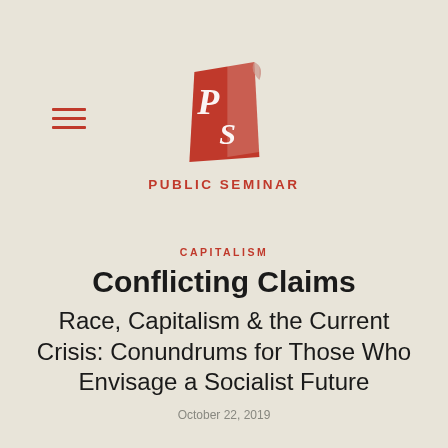[Figure (logo): Public Seminar logo: red stylized scroll/book shape with white letters P and S]
PUBLIC SEMINAR
CAPITALISM
Conflicting Claims
Race, Capitalism & the Current Crisis: Conundrums for Those Who Envisage a Socialist Future
October 22, 2019